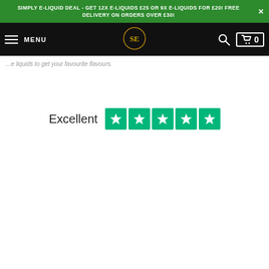SIMPLY E-LIQUID DEAL – GET 12X E-LIQUIDS £25 OR 9X E-LIQUIDS FOR £20! FREE DELIVERY ON ORDERS OVER £30!
[Figure (screenshot): Website navigation bar with hamburger menu (MENU), circular SE logo, search icon, and cart icon showing 0 items]
...e liquids to get your favourite flavours.
Excellent ★★★★★